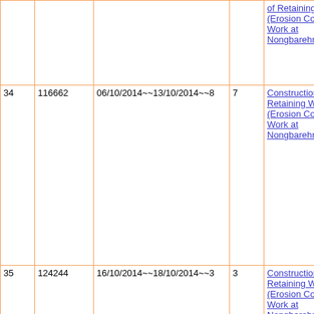| No. | ID | Date Range / Days | Days | Description |
| --- | --- | --- | --- | --- |
|  |  |  |  | of Retaining Wall (Erosion Control Work at Nongbarehrim Vec |
| 34 | 116662 | 06/10/2014~~13/10/2014~~8 | 7 | Construction of Retaining Wall (Erosion Control Work at Nongbarehrim Vec |
| 35 | 124244 | 16/10/2014~~18/10/2014~~3 | 3 | Construction of Retaining Wall (Erosion Control Work at Nongbarehrim Vec |
| 36 | 122507 | 20/01/2015~~11/02/2015~~23 | 20 | Construction of RetainingWall (ECW) at Nongbareh Rim Vec |
| 37 | 13105 | 04/05/2015~~19/05/2015~~16 | 14 | "Const. of Internal road at |